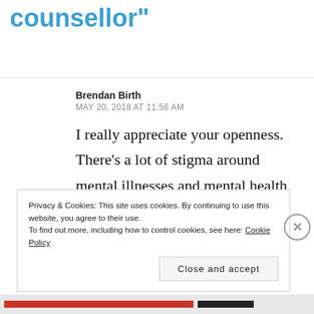counsellor"
Brendan Birth
MAY 20, 2018 AT 11:56 AM
I really appreciate your openness. There’s a lot of stigma around mental illnesses and mental health, and I hope posts like this can remove some of the stigma.
Privacy & Cookies: This site uses cookies. By continuing to use this website, you agree to their use.
To find out more, including how to control cookies, see here: Cookie Policy
Close and accept